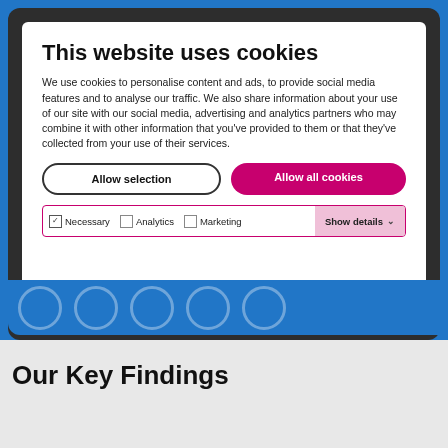[Figure (screenshot): Cookie consent modal popup over a website screenshot showing blue background with dark screen border. Modal contains title, description text, two buttons (Allow selection, Allow all cookies), and a consent options bar with Necessary, Analytics, Marketing checkboxes and Show details button.]
This website uses cookies
We use cookies to personalise content and ads, to provide social media features and to analyse our traffic. We also share information about your use of our site with our social media, advertising and analytics partners who may combine it with other information that you've provided to them or that they've collected from your use of their services.
Allow selection
Allow all cookies
Necessary   Analytics   Marketing   Show details
Our Key Findings